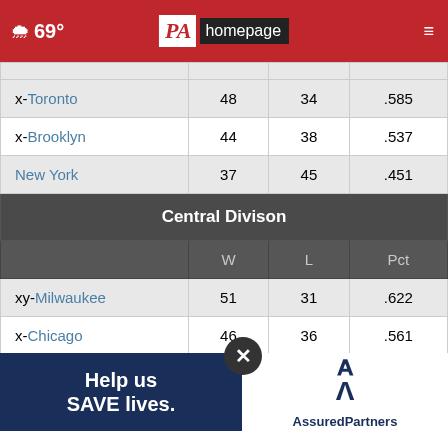69° PA homepage
|  | W | L | Pct |
| --- | --- | --- | --- |
| x-Toronto | 48 | 34 | .585 |
| x-Brooklyn | 44 | 38 | .537 |
| New York | 37 | 45 | .451 |
| Central Divison |  |  |  |
|  | W | L | Pct |
| xy-Milwaukee | 51 | 31 | .622 |
| x-Chicago | 46 | 36 | .561 |
| xyz-Cleveland | 44 | 38 | .537 |
| Indian... |  |  |  |
[Figure (other): Advertisement banner: 'Help us SAVE lives.' with AssuredPartners logo]